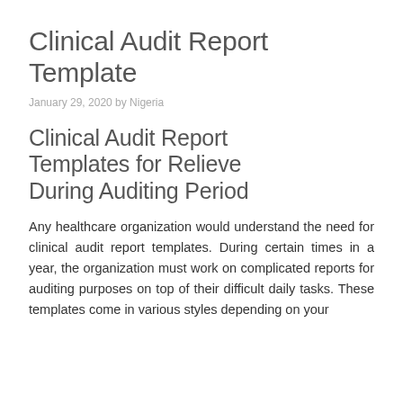Clinical Audit Report Template
January 29, 2020 by Nigeria
Clinical Audit Report Templates for Relieve During Auditing Period
Any healthcare organization would understand the need for clinical audit report templates. During certain times in a year, the organization must work on complicated reports for auditing purposes on top of their difficult daily tasks. These templates come in various styles depending on your